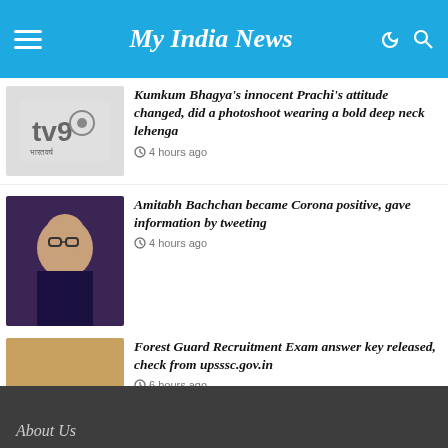My India News
[Figure (screenshot): TV9 Bharatvarsha logo placeholder thumbnail]
Kumkum Bhagya's innocent Prachi's attitude changed, did a photoshoot wearing a bold deep neck lehenga
4 hours ago
[Figure (photo): Amitabh Bachchan portrait photo]
Amitabh Bachchan became Corona positive, gave information by tweeting
4 hours ago
[Figure (photo): Person writing in a book photo]
Forest Guard Recruitment Exam answer key released, check from upsssc.gov.in
6 hours ago
About Us